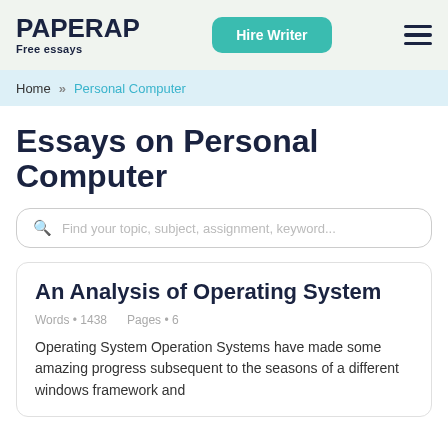PAPERAP Free essays | Hire Writer
Home » Personal Computer
Essays on Personal Computer
Find your topic, subject, assignment, keyword...
An Analysis of Operating System
Words • 1438    Pages • 6
Operating System Operation Systems have made some amazing progress subsequent to the seasons of a different windows framework and